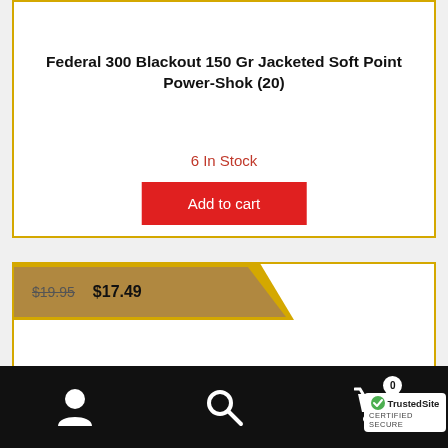Federal 300 Blackout 150 Gr Jacketed Soft Point Power-Shok (20)
6 In Stock
Add to cart
$19.95 $17.49
[Figure (screenshot): E-commerce product listing page showing two product cards with yellow borders, prices, stock info, add to cart button, and bottom navigation bar with user, search, and cart icons. TrustedSite certified secure badge visible.]